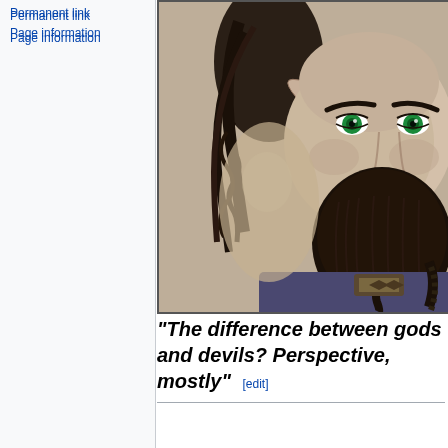Permanent link
Page information
[Figure (illustration): Digital illustration of a bearded fantasy character with pointed ears and striking green eyes, dark braided hair, wearing medieval-style clothing with a braided beard]
"The difference between gods and devils? Perspective, mostly" [edit]